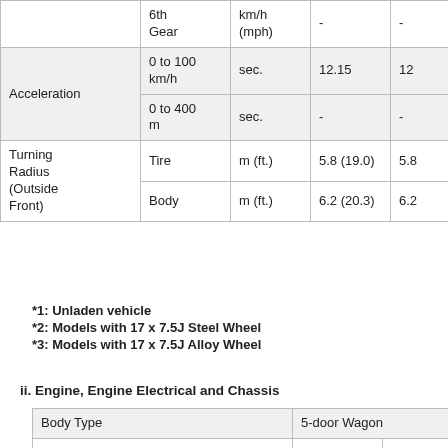|  | 6th Gear | km/h (mph) | - | - |
| --- | --- | --- | --- | --- |
| Acceleration | 0 to 100 km/h | sec. | 12.15 | 12 |
| Acceleration | 0 to 400 m | sec. | - | - |
| Turning Radius (Outside Front) | Tire | m (ft.) | 5.8 (19.0) | 5.8 |
| Turning Radius (Outside Front) | Body | m (ft.) | 6.2 (20.3) | 6.2 |
*1: Unladen vehicle
*2: Models with 17 x 7.5J Steel Wheel
*3: Models with 17 x 7.5J Alloy Wheel
ii. Engine, Engine Electrical and Chassis
| Body Type | 5-door Wagon |
| --- | --- |
| Vehicle Grade | Low | Lo |
| Model Code | TGN156L-SDMLKV | TG |